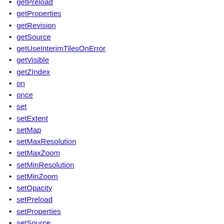getPreload
getProperties
getRevision
getSource
getUseInterimTilesOnError
getVisible
getZIndex
on
once
set
setExtent
setMap
setMaxResolution
setMaxZoom
setMinResolution
setMinZoom
setOpacity
setPreload
setProperties
setSource
setUseInterimTilesOnError
setVisible
setZIndex
un
unset